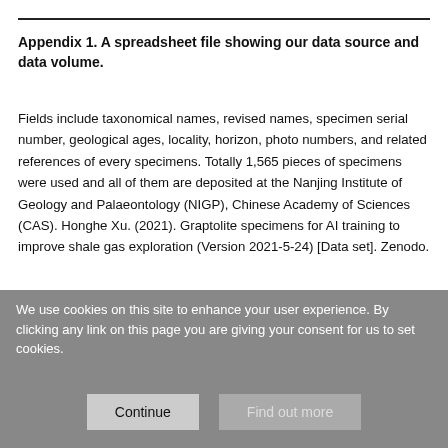Appendix 1. A spreadsheet file showing our data source and data volume.
Fields include taxonomical names, revised names, specimen serial number, geological ages, locality, horizon, photo numbers, and related references of every specimens. Totally 1,565 pieces of specimens were used and all of them are deposited at the Nanjing Institute of Geology and Palaeontology (NIGP), Chinese Academy of Sciences (CAS). Honghe Xu. (2021). Graptolite specimens for AI training to improve shale gas exploration (Version 2021-5-24) [Data set]. Zenodo.
http://doi.org/10.5281/zenodo.4782770
We use cookies on this site to enhance your user experience. By clicking any link on this page you are giving your consent for us to set cookies.